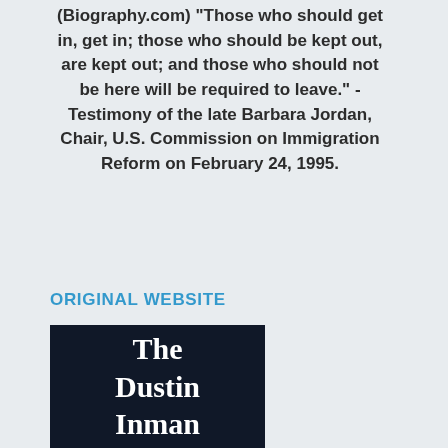(Biography.com) "Those who should get in, get in; those who should be kept out, are kept out; and those who should not be here will be required to leave." - Testimony of the late Barbara Jordan, Chair, U.S. Commission on Immigration Reform on February 24, 1995.
ORIGINAL WEBSITE
[Figure (other): Dark navy blue banner image with white bold serif text reading 'The Dustin Inman']